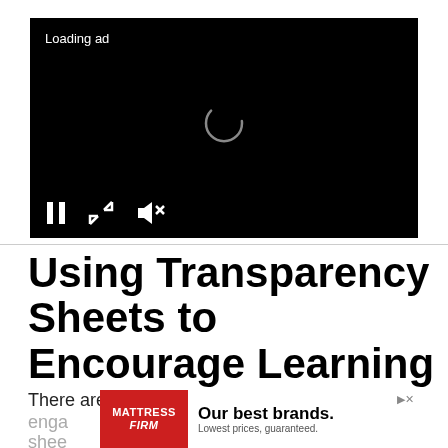[Figure (screenshot): Black video player with 'Loading ad' text, a circular spinner in the center, and media controls (pause, expand, mute) at the bottom left.]
Using Transparency Sheets to Encourage Learning
There are many ways to extend learning with
[Figure (screenshot): Advertisement banner for Mattress Firm: 'Our best brands. Lowest prices, guaranteed.']